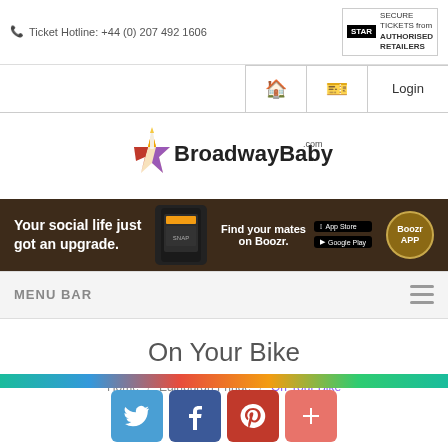Ticket Hotline: +44 (0) 207 492 1606 | STAR Secure Tickets from Authorised Retailers
[Figure (screenshot): Navigation bar with home icon, ticket icon, and Login button]
[Figure (logo): BroadwayBaby.com logo with star graphic]
[Figure (infographic): Advertisement banner: Your social life just got an upgrade. Find your mates on Boozr. App Store and Google Play buttons. Boozr App logo.]
MENU BAR
On Your Bike
Home / Edinburgh Fringe / On Your Bike
[Figure (infographic): Social sharing buttons: Twitter (blue), Facebook (dark blue), Pinterest (red), Plus/share (coral red)]